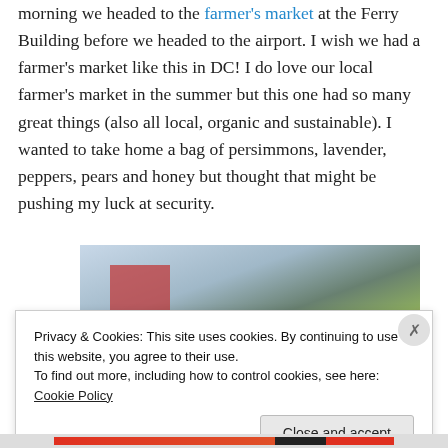morning we headed to the farmer's market at the Ferry Building before we headed to the airport. I wish we had a farmer's market like this in DC! I do love our local farmer's market in the summer but this one had so many great things (also all local, organic and sustainable). I wanted to take home a bag of persimmons, lavender, peppers, pears and honey but thought that might be pushing my luck at security.
[Figure (photo): Photo of colorful vegetables including carrots and other produce at a farmer's market stall, with market tent canopy visible in background]
Privacy & Cookies: This site uses cookies. By continuing to use this website, you agree to their use.
To find out more, including how to control cookies, see here: Cookie Policy
Close and accept